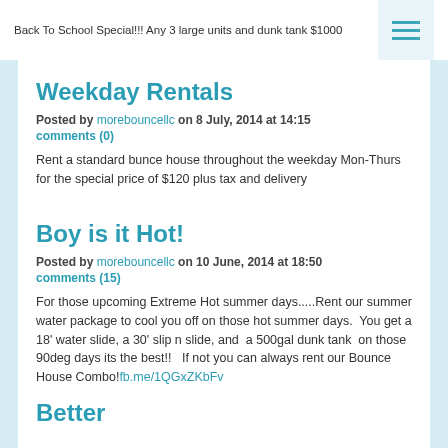Back To School Special!!!   Any 3 large units and dunk tank $1000
Weekday Rentals
Posted by morebouncellc on 8 July, 2014 at 14:15
comments (0)
Rent a standard bunce house throughout the weekday Mon-Thurs for the special price of $120 plus tax and delivery
Boy is it Hot!
Posted by morebouncellc on 10 June, 2014 at 18:50
comments (15)
For those upcoming Extreme Hot summer days.....Rent our summer water package to cool you off on those hot summer days.  You get a 18' water slide, a 30' slip n slide, and  a 500gal dunk tank  on those 90deg days its the best!!   If not you can always rent our Bounce House Combo!fb.me/1QGxZKbFv
Better